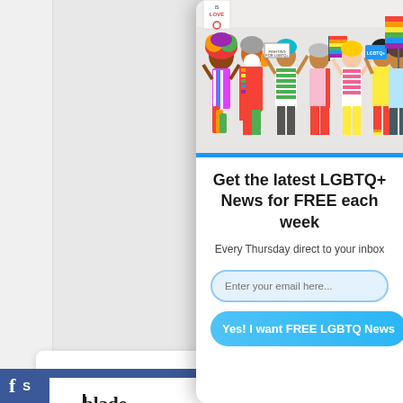[Figure (photo): Group of diverse people holding LGBTQ+ pride flags and signs, wearing colorful clothing, at a pride event]
Get the latest LGBTQ+ News for FREE each week
Every Thursday direct to your inbox
[Figure (screenshot): Email input field with placeholder text 'Enter your email here...' styled with rounded border]
[Figure (screenshot): Button labeled 'Yes! I want FREE LGBTQ News' with rounded blue gradient style]
[Figure (logo): Washington Blade newspaper logo in bottom left sidebar]
Facebook social media bar at bottom of page